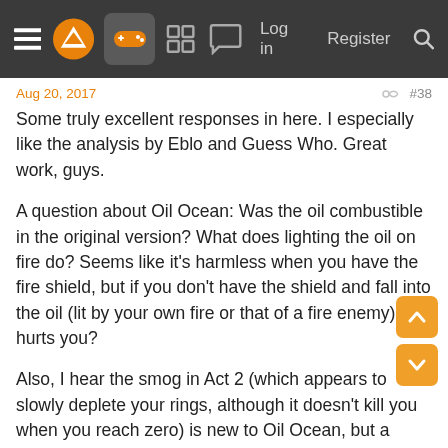Log in  Register
Aug 20, 2017  #38
Some truly excellent responses in here. I especially like the analysis by Eblo and Guess Who. Great work, guys.
A question about Oil Ocean: Was the oil combustible in the original version? What does lighting the oil on fire do? Seems like it's harmless when you have the fire shield, but if you don't have the shield and fall into the oil (lit by your own fire or that of a fire enemy), it hurts you?
Also, I hear the smog in Act 2 (which appears to slowly deplete your rings, although it doesn't kill you when you reach zero) is new to Oil Ocean, but a similar concept appeared in a stage (from a previous game) called Sandopolis (or something to that effect)?
Is the Giga Octo boss at the end of Act 2 a reference to anything? I imagine the smaller octo enemies were in the original Oil Ocean (since they appear in the remade stage).